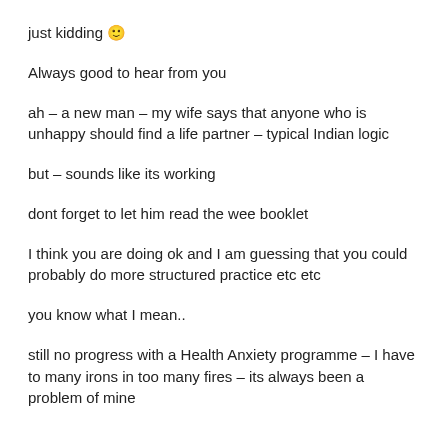just kidding 🙂
Always good to hear from you
ah – a new man – my wife says that anyone who is unhappy should find a life partner – typical Indian logic
but – sounds like its working
dont forget to let him read the wee booklet
I think you are doing ok and I am guessing that you could probably do more structured practice etc etc
you know what I mean..
still no progress with a Health Anxiety programme – I have to many irons in too many fires – its always been a problem of mine